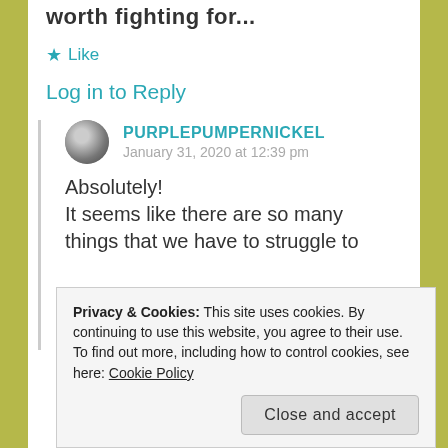worth fighting for...
★ Like
Log in to Reply
PURPLEPUMPERNICKEL
January 31, 2020 at 12:39 pm
Absolutely!
It seems like there are so many things that we have to struggle to
Privacy & Cookies: This site uses cookies. By continuing to use this website, you agree to their use.
To find out more, including how to control cookies, see here: Cookie Policy
Close and accept